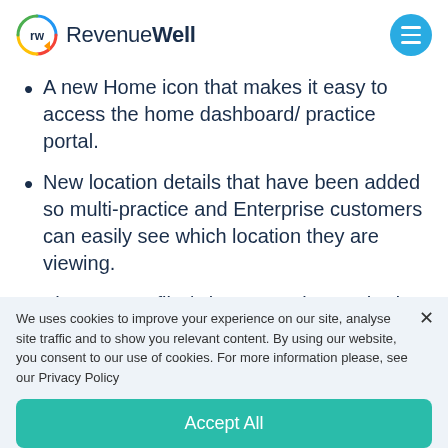[Figure (logo): RevenueWell logo with circular rw icon and hamburger menu button on the right]
A new Home icon that makes it easy to access the home dashboard/ practice portal.
New location details that have been added so multi-practice and Enterprise customers can easily see which location they are viewing.
The user profile / sign out option pushed to the
We uses cookies to improve your experience on our site, analyse site traffic and to show you relevant content. By using our website, you consent to our use of cookies. For more information please, see our Privacy Policy
Accept All